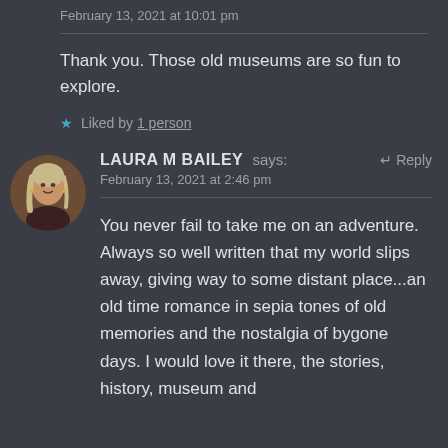February 13, 2021 at 10:01 pm
Thank you. Those old museums are so fun to explore.
★ Liked by 1 person
LAURA M BAILEY says:
February 13, 2021 at 2:46 pm
You never fail to take me on an adventure. Always so well written that my world slips away, giving way to some distant place...an old time romance in sepia tones of old memories and the nostalgia of bygone days. I would love it there, the stories, history, museum and